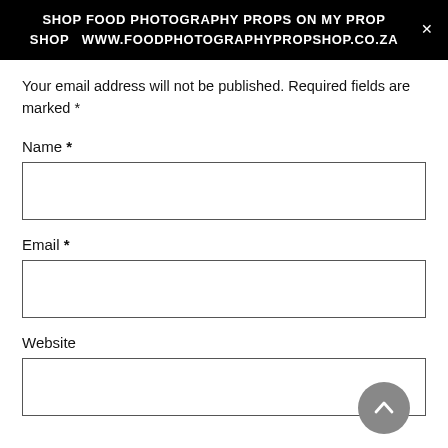SHOP FOOD PHOTOGRAPHY PROPS ON MY PROP SHOP  WWW.FOODPHOTOGRAPHYPROPSHOP.CO.ZA
Your email address will not be published. Required fields are marked *
Name *
Email *
Website